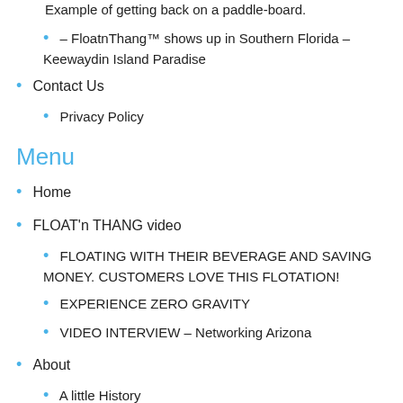Example of getting back on a paddle-board.
– FloatnThang™ shows up in Southern Florida – Keewaydin Island Paradise
Contact Us
Privacy Policy
Menu
Home
FLOAT'n THANG video
FLOATING WITH THEIR BEVERAGE AND SAVING MONEY. CUSTOMERS LOVE THIS FLOTATION!
EXPERIENCE ZERO GRAVITY
VIDEO INTERVIEW – Networking Arizona
About
A little History
How It's Made